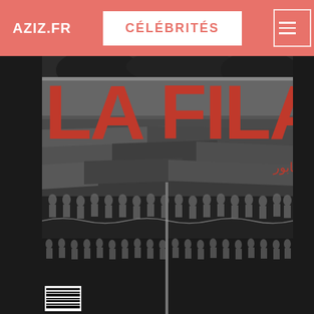AZIZ.FR | CÉLÉBRITÉS
[Figure (photo): Book cover of 'LA FILA' (الطابور in Arabic) — a black and white photograph showing a crowded market scene with tarps and awnings, people in a queue below. Large red bold text 'LA FILA' overlaid at top, with Arabic text 'الطابور' in red on the right. A barcode is visible at the bottom left of the cover.]